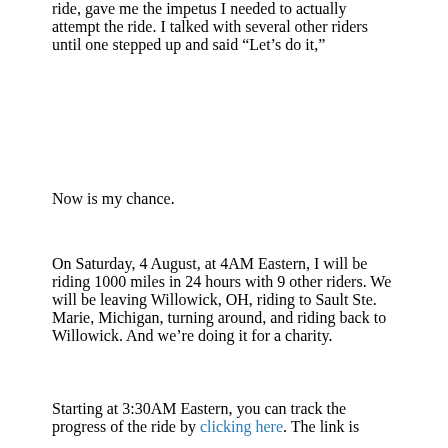ride, gave me the impetus I needed to actually attempt the ride. I talked with several other riders until one stepped up and said “Let’s do it,”
Now is my chance.
On Saturday, 4 August, at 4AM Eastern, I will be riding 1000 miles in 24 hours with 9 other riders. We will be leaving Willowick, OH, riding to Sault Ste. Marie, Michigan, turning around, and riding back to Willowick. And we’re doing it for a charity.
Starting at 3:30AM Eastern, you can track the progress of the ride by clicking here. The link is